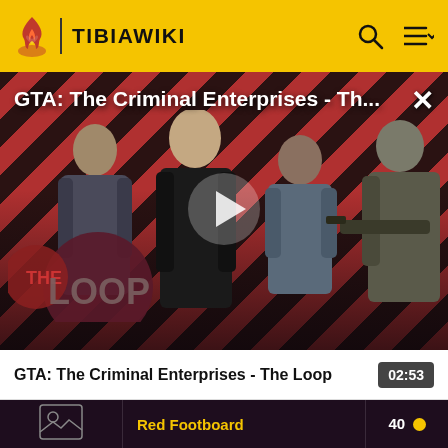TIBIAWIKI
[Figure (screenshot): Video thumbnail for GTA: The Criminal Enterprises - The Loop, showing characters on a red and black diagonal striped background with THE LOOP logo, and a play button in the center]
GTA: The Criminal Enterprises - Th...
02:53
| Image | Name | Price |
| --- | --- | --- |
| [image placeholder] | Red Footboard | 40 |